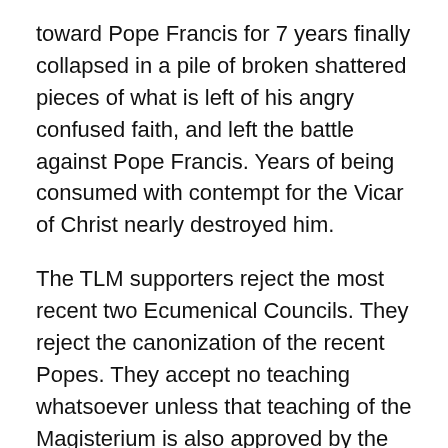toward Pope Francis for 7 years finally collapsed in a pile of broken shattered pieces of what is left of his angry confused faith, and left the battle against Pope Francis. Years of being consumed with contempt for the Vicar of Christ nearly destroyed him.
The TLM supporters reject the most recent two Ecumenical Councils. They reject the canonization of the recent Popes. They accept no teaching whatsoever unless that teaching of the Magisterium is also approved by the traditionalist or conservative Catholic subculture. They have no faith in the teachings, per se, of the Ecumenical Councils and Roman Pontiffs. Those are the fruits of a schismatic far right community that has taken the holy and sacred traditional Latin Mass and turned it into an idol. Those are the fruits of a group of Catholics who have